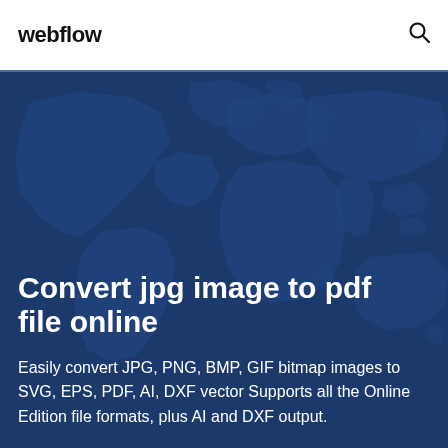webflow
[Figure (illustration): World map silhouette illustration in dark blue tones used as hero background]
Convert jpg image to pdf file online
Easily convert JPG, PNG, BMP, GIF bitmap images to SVG, EPS, PDF, AI, DXF vector Supports all the Online Edition file formats, plus AI and DXF output.